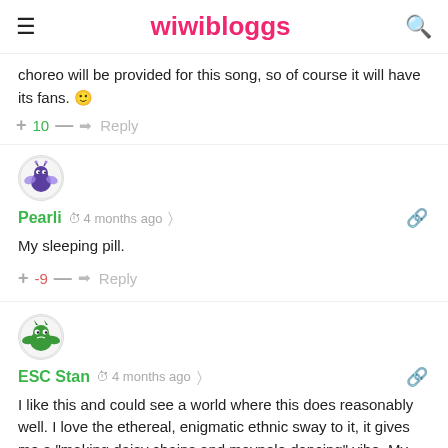wiwibloggs
choreo will be provided for this song, so of course it will have its fans. 🙂
+ 10 — ➜ Reply
[Figure (illustration): User avatar for Pearli: small circular avatar with purple alien/monster character]
Pearli  🕐 4 months ago  < share  🔗
My sleeping pill.
+ -9 — ➜ Reply
[Figure (illustration): User avatar for ESC Stan: small circular avatar with green monster/alien character]
ESC Stan  🕐 4 months ago  < share  🔗
I like this and could see a world where this does reasonably well. I love the ethereal, enigmatic ethnic sway to it, it gives me a "making daisy chains and maypole dancing" vibe. My only concern is the lack of peaks and troughs could place this in the